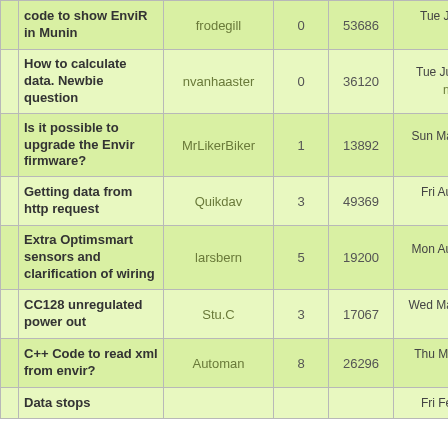|  | Topic | Author | Replies | Views | Last Post |
| --- | --- | --- | --- | --- | --- |
|  | code to show EnviR in Munin | frodegill | 0 | 53686 | Tue Jul 16, 2013
frodegill |
|  | How to calculate data. Newbie question | nvanhaaster | 0 | 36120 | Tue Jun 11, 2013
nvanhaaster |
|  | Is it possible to upgrade the Envir firmware? | MrLikerBiker | 1 | 13892 | Sun May 05, 2013
SaFeHeX |
|  | Getting data from http request | Quikdav | 3 | 49369 | Fri Aug 31, 2012
erikj180 |
|  | Extra Optimsmart sensors and clarification of wiring | larsbern | 5 | 19200 | Mon Aug 06, 2012
larsbern |
|  | CC128 unregulated power out | Stu.C | 3 | 17067 | Wed May 16, 2012
Stu.C |
|  | C++ Code to read xml from envir? | Automan | 8 | 26296 | Thu Mar 15, 2012
sashton |
|  | Data stops |  |  |  | Fri Feb 17, 2012 |